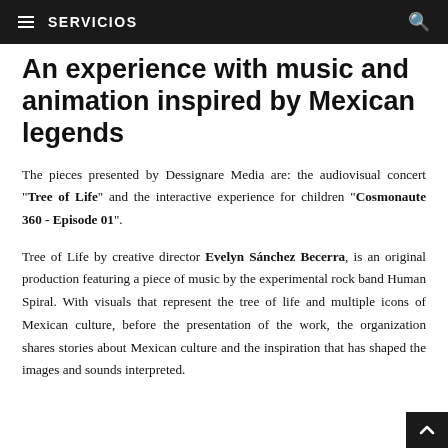≡ SERVICIOS
An experience with music and animation inspired by Mexican legends
The pieces presented by Dessignare Media are: the audiovisual concert "Tree of Life" and the interactive experience for children "Cosmonaute 360 - Episode 01".
Tree of Life by creative director Evelyn Sánchez Becerra, is an original production featuring a piece of music by the experimental rock band Human Spiral. With visuals that represent the tree of life and multiple icons of Mexican culture, before the presentation of the work, the organization shares stories about Mexican culture and the inspiration that has shaped the images and sounds interpreted.